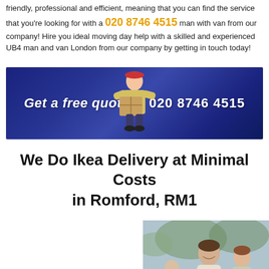friendly, professional and efficient, meaning that you can find the service that you're looking for with a KT4 man with van from our company! Hire you ideal moving day help with a skilled and experienced UB4 man and van London from our company by getting in touch today!
[Figure (infographic): Dark blue banner advertisement with text 'Get a free quote' on the left, a delivery person holding boxes in the centre, and phone number '020 8746 4515' on the right.]
We Do Ikea Delivery at Minimal Costs in Romford, RM1
Your move to a different country shouldn't have to worry you and your family, and if you
[Figure (photo): Photo of two smiling people outdoors, a man and a woman, with trees in the background.]